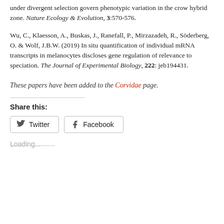under divergent selection govern phenotypic variation in the crow hybrid zone. Nature Ecology & Evolution, 3:570-576.
Wu, C., Klaesson, A., Buskas, J., Ranefall, P., Mirzazadeh, R., Söderberg, O. & Wolf, J.B.W. (2019) In situ quantification of individual mRNA transcripts in melanocytes discloses gene regulation of relevance to speciation. The Journal of Experimental Biology, 222: jeb194431.
These papers have been added to the Corvidae page.
Share this:
Twitter   Facebook
Loading...